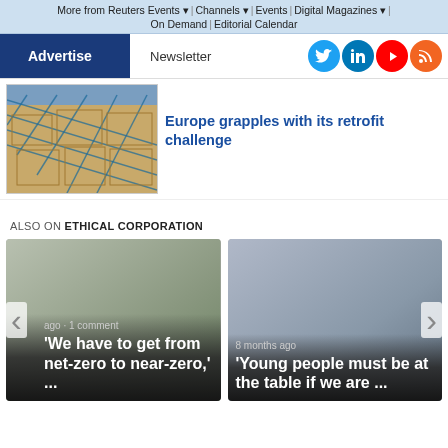More from Reuters Events | Channels | Events | Digital Magazines | On Demand | Editorial Calendar
Advertise | Newsletter
[Figure (photo): A photo showing stacked wooden crates or boxes secured with blue netting/ropes]
Europe grapples with its retrofit challenge
ALSO ON ETHICAL CORPORATION
ago · 1 comment
'We have to get from net-zero to near-zero,' ...
8 months ago
'Young people must be at the table if we are ...